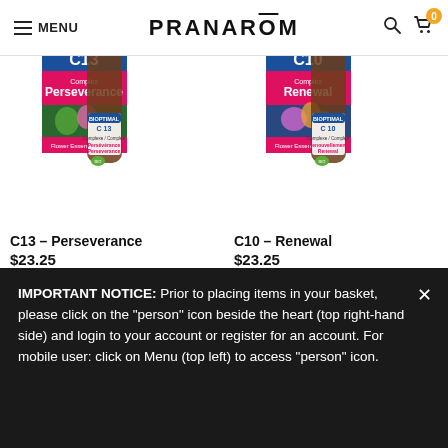MENU | PRANAROM | Search | Cart (0)
[Figure (photo): Product bottle for C13 Perseverance flower essence remedy, 20ml dropper bottle with box]
C13 – Perseverance
$23.25
[Figure (photo): Product bottle for C10 Renewal flower essence remedy, 20ml dropper bottle with box]
C10 – Renewal
$23.25
IMPORTANT NOTICE: Prior to placing items in your basket, please click on the "person" icon beside the heart (top right-hand side) and login to your account or register for an account. For mobile user: click on Menu (top left) to access "person" icon.